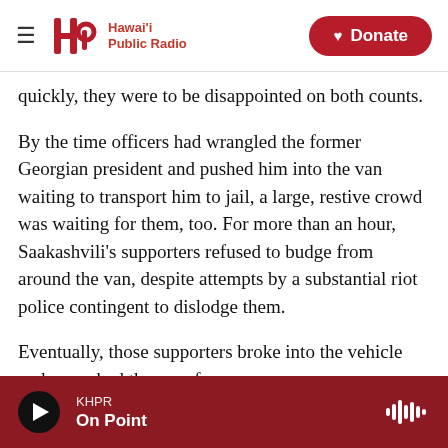Hawai'i Public Radio — Donate
quickly, they were to be disappointed on both counts.
By the time officers had wrangled the former Georgian president and pushed him into the van waiting to transport him to jail, a large, restive crowd was waiting for them, too. For more than an hour, Saakashvili's supporters refused to budge from around the van, despite attempts by a substantial riot police contingent to dislodge them.
Eventually, those supporters broke into the vehicle and wrenched the man free.
KHPR — On Point